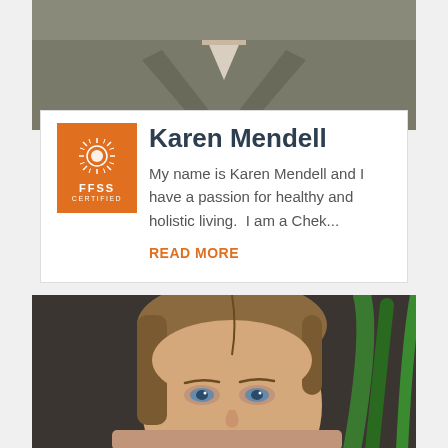[Figure (photo): Close-up photo of a person wearing a grey blazer, visible from neck/collar area upward, cropped at top of page]
[Figure (logo): FFSS Certified badge - orange square with sun icon, FFSS text and CERTIFIED text in white]
Karen Mendell
My name is Karen Mendell and I have a passion for healthy and holistic living.  I am a Chek...
READ MORE
[Figure (photo): Close-up portrait photo of a young woman with light brown hair and blue eyes, with a green aloe vera plant visible to the right]